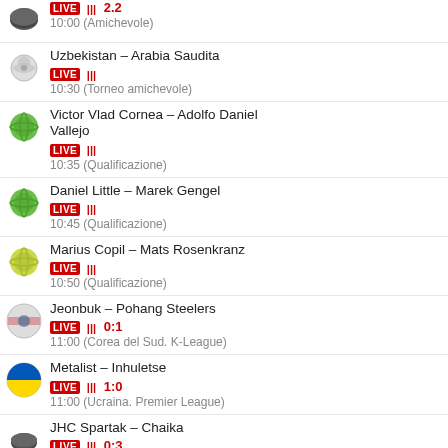LIVE 2.2 | 10:00 (Amichevole)
Uzbekistan – Arabia Saudita | LIVE | 10:30 (Torneo amichevole)
Victor Vlad Cornea – Adolfo Daniel Vallejo | LIVE | 10:35 (Qualificazione)
Daniel Little – Marek Gengel | LIVE | 10:45 (Qualificazione)
Marius Copil – Mats Rosenkranz | LIVE | 10:50 (Qualificazione)
Jeonbuk – Pohang Steelers | LIVE 0:1 | 11:00 (Corea del Sud. K-League)
Metalist – Inhuletse | LIVE 1:0 | 11:00 (Ucraina. Premier League)
JHC Spartak – Chaika | LIVE 0:3 | 11:00 (Amichevole)
Buran Voronezh – Ryazan | LIVE 2:2 | 11:00 (Amichevole)
Torpedo NN – Metallurg Nk | LIVE 2:3 | 11:00 (Amichevole)
Sakhalinskie Akuly – Taifun | LIVE |
Per potere aggiungere registrarvi o connettere
Informazioni sui nuovi commenti i